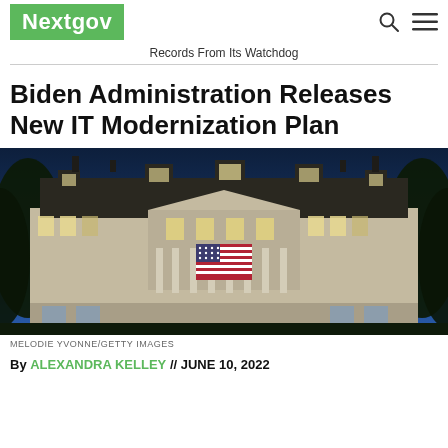Nextgov
Records From Its Watchdog
Biden Administration Releases New IT Modernization Plan
[Figure (photo): Nighttime photo of a large ornate government building (Eisenhower Executive Office Building) illuminated with lights and an American flag displayed on the facade, with trees on either side and a deep blue sky.]
MELODIE YVONNE/GETTY IMAGES
By ALEXANDRA KELLEY // JUNE 10, 2022